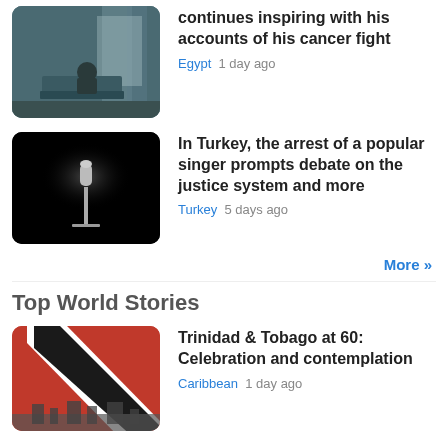[Figure (photo): Hospital room with patient sitting on bed near window with curtains]
continues inspiring with his accounts of his cancer fight
Egypt  1 day ago
[Figure (photo): Dark background with a single microphone illuminated]
In Turkey, the arrest of a popular singer prompts debate on the justice system and more
Turkey  5 days ago
More »
Top World Stories
[Figure (photo): Trinidad and Tobago flag with red, black and white colors, cityscape below]
Trinidad & Tobago at 60: Celebration and contemplation
Caribbean  1 day ago